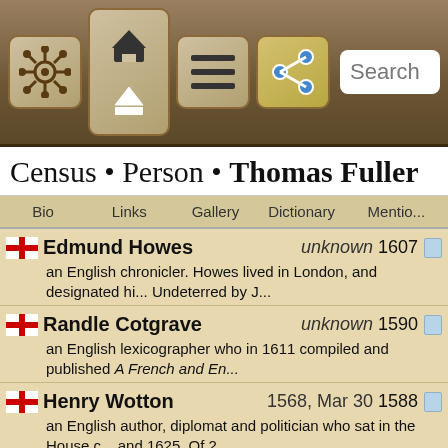[Figure (screenshot): Navigation bar with wood-texture background containing icons: ship wheel, home/up arrows, hamburger menu, share button, and search bar]
Census • Person • Thomas Fuller
Bio  Links  Gallery  Dictionary  Mentions
Edmund Howes  unknown  1607 — an English chronicler. Howes lived in London, and designated hi... Undeterred by J...
Randle Cotgrave  unknown  1590 — an English lexicographer who in 1611 compiled and published A French and En...
Henry Wotton  1568, Mar 30  1588 — an English author, diplomat and politician who sat in the House c... and 1625. Of 2...
John Harrison [1]  unknown  1610 — an English representative in Morocco in the 17th century. James Harrison t...
George Abbot  1562, Oct 19  1611 — an English divine who was Archbishop of Canterbury from 1611 Church of England. H...